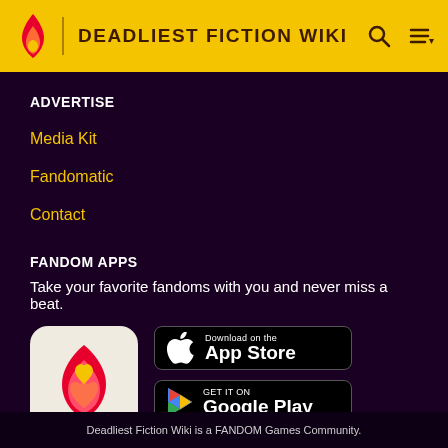DEADLIEST FICTION WIKI
ADVERTISE
Media Kit
Fandomatic
Contact
FANDOM APPS
Take your favorite fandoms with you and never miss a beat.
[Figure (logo): Fandom app icon: pink/red flame with yellow heart on light beige background]
[Figure (screenshot): Download on the App Store button (black, rounded rectangle)]
[Figure (screenshot): GET IT ON Google Play button (black, rounded rectangle)]
Deadliest Fiction Wiki is a FANDOM Games Community.